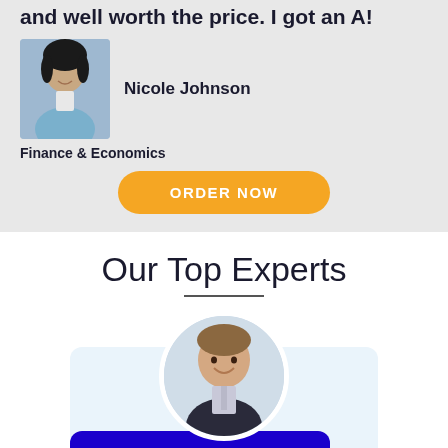and well worth the price. I got an A!
[Figure (photo): Photo of Nicole Johnson, a young woman smiling]
Nicole Johnson
Finance & Economics
ORDER NOW
Our Top Experts
[Figure (photo): Expert profile photo of a man in a suit, partially shown in circular crop]
Pro_M
97%
Chat now